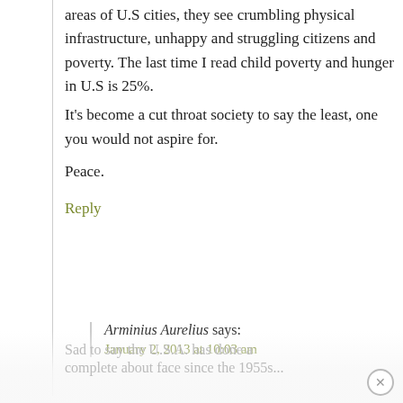areas of U.S cities, they see crumbling physical infrastructure, unhappy and struggling citizens and poverty. The last time I read child poverty and hunger in U.S is 25%.
It’s become a cut throat society to say the least, one you would not aspire for.
Peace.
Reply
Arminius Aurelius says:
January 2, 2013 at 10:03 am
Sad to say the U.S.A. has done a complete about face since the 1955s...